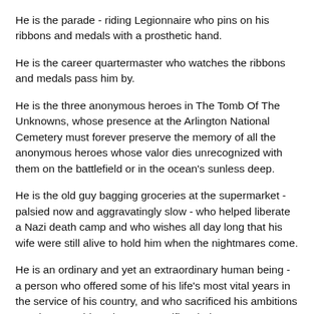He is the parade - riding Legionnaire who pins on his ribbons and medals with a prosthetic hand.
He is the career quartermaster who watches the ribbons and medals pass him by.
He is the three anonymous heroes in The Tomb Of The Unknowns, whose presence at the Arlington National Cemetery must forever preserve the memory of all the anonymous heroes whose valor dies unrecognized with them on the battlefield or in the ocean's sunless deep.
He is the old guy bagging groceries at the supermarket - palsied now and aggravatingly slow - who helped liberate a Nazi death camp and who wishes all day long that his wife were still alive to hold him when the nightmares come.
He is an ordinary and yet an extraordinary human being - a person who offered some of his life's most vital years in the service of his country, and who sacrificed his ambitions so others would not have to sacrifice theirs.